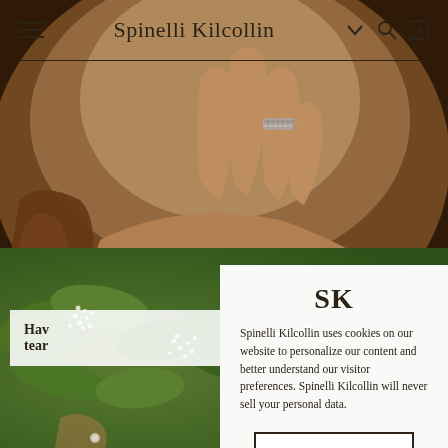[Figure (photo): Close-up photo of a person wearing a silver ring on their finger, dressed in a white shirt with small daisy details]
[Figure (photo): Close-up photo of green foliage and small white flower clusters]
Spinelli Kilcollin
Hav tear
SK
Spinelli Kilcollin uses cookies on our website to personalize our content and better understand our visitor preferences. Spinelli Kilcollin will never sell your personal data.
ACCEPT